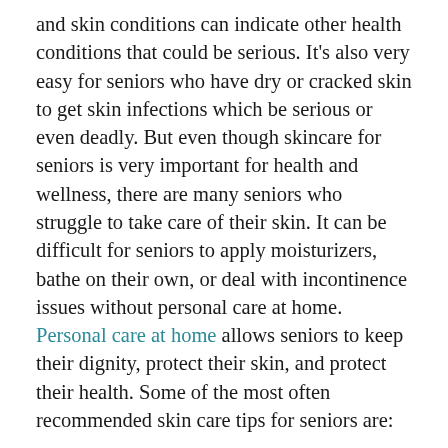and skin conditions can indicate other health conditions that could be serious. It's also very easy for seniors who have dry or cracked skin to get skin infections which be serious or even deadly. But even though skincare for seniors is very important for health and wellness, there are many seniors who struggle to take care of their skin. It can be difficult for seniors to apply moisturizers, bathe on their own, or deal with incontinence issues without personal care at home. Personal care at home allows seniors to keep their dignity, protect their skin, and protect their health. Some of the most often recommended skin care tips for seniors are:
Don't Bathe Too Often
Seniors usually don't need to bathe or shower every single day. In fact, bathing too often can